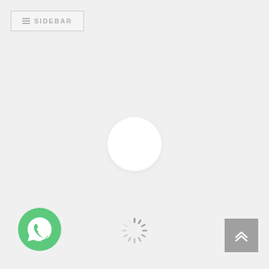[Figure (screenshot): Sidebar toggle button with hamburger icon and SIDEBAR text label, styled with a light gray border]
[Figure (other): Large white circular loading/logo placeholder in the center of the page]
[Figure (other): Green WhatsApp icon button in the bottom-left corner]
[Figure (other): Gray spinning loader animation in the bottom-center]
[Figure (other): Gray scroll-to-top button with double chevron up arrow in the bottom-right corner]